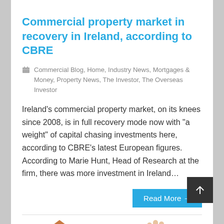Commercial property market in recovery in Ireland, according to CBRE
Commercial Blog, Home, Industry News, Mortgages & Money, Property News, The Investor, The Overseas Investor
Ireland's commercial property market, on its knees since 2008, is in full recovery mode now with "a weight" of capital chasing investments here, according to CBRE's latest European figures. According to Marie Hunt, Head of Research at the firm, there was more investment in Ireland…
Read More →
[Figure (illustration): Partial illustration of a house/property and a hand at the bottom of the page]